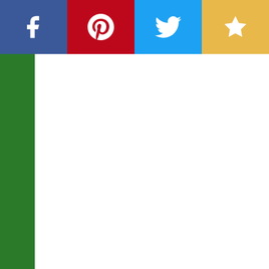[Figure (infographic): Social sharing bar with Facebook (blue), Pinterest (red), Twitter (light blue), and Favorite star (yellow) buttons across the top]
[Figure (photo): Partial product thumbnail image showing a dark/grey surface, partially visible at top right]
No tape or tacks required Thick, high-grade vinyl resists tears, rips & fading Details Strongly suggested for indoor use only Made in the USA | Raya and The Last Dragon Raya Re... - Raya and The Last Dragon Raya RealBig - Officially Licensed